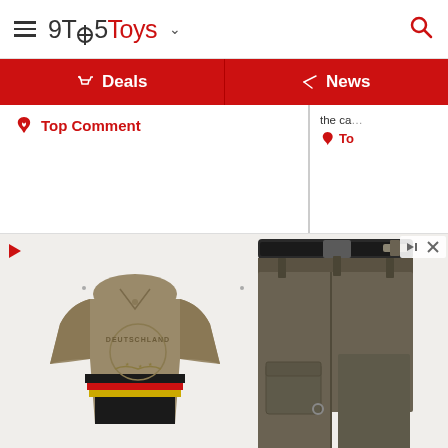9TO5Toys
Deals
News
Top Comment
the ca
To
[Figure (photo): Game clothing items: a Germany eagle polo shirt with black/red/gold stripes and military-style olive cargo pants with belt, displayed as 3D rendered game items against white background. Ad with play button and X close button controls visible.]